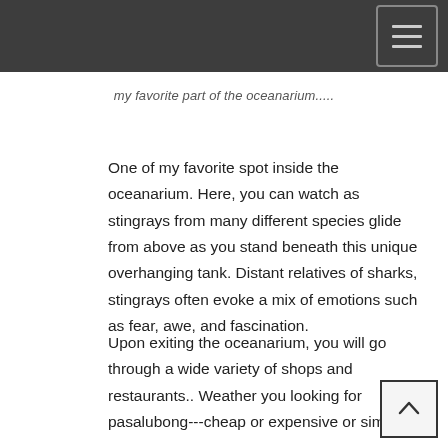my favorite part of the oceanarium.....
One of my favorite spot inside the oceanarium. Here, you can watch as stingrays from many different species glide from above as you stand beneath this unique overhanging tank. Distant relatives of sharks, stingrays often evoke a mix of emotions such as fear, awe, and fascination.
Upon exiting the oceanarium, you will go through a wide variety of shops and restaurants.. Weather you looking for pasalubong---cheap or expensive or simply